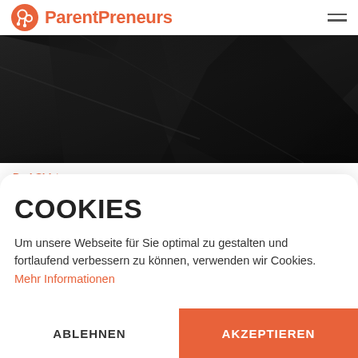ParentPreneurs
[Figure (photo): Dark fabric close-up image (black shirt or textile), partially visible at top of page under the header]
Dad Shirt
GRÜNDERVATER
COOKIES
Um unsere Webseite für Sie optimal zu gestalten und fortlaufend verbessern zu können, verwenden wir Cookies. Mehr Informationen